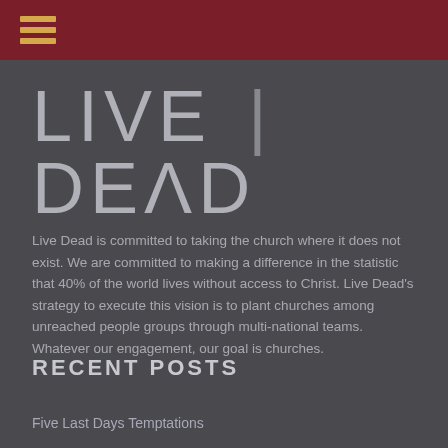☰ (hamburger menu icon)
LIVE | DEAD
Live Dead is committed to taking the church where it does not exist. We are committed to making a difference in the statistic that 40% of the world lives without access to Christ. Live Dead's strategy to execute this vision is to plant churches among unreached people groups through multi-national teams. Whatever our engagement, our goal is churches.
RECENT POSTS
Five Last Days Temptations